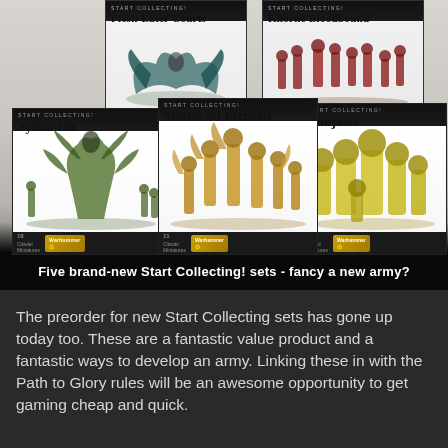[Figure (photo): Advertisement image showing five Warhammer Age of Sigmar 'Start Collecting!' box sets: Flesh-Eater Courts, Khorne Bloodbound (top row, partially visible), Sylvaneth, Stormcast Eternals, and Ironjawz (bottom row). Each box features miniature figures on a white background. A black banner at the bottom reads: 'Five brand-new Start Collecting! sets - fancy a new army?']
Five brand-new Start Collecting! sets - fancy a new army?
The preorder for new Start Collecting sets has gone up today too. These are a fantastic value product and a fantastic ways to develop an army. Linking these in with the Path to Glory rules will be an awesome opportunity to get gaming cheap and quick.